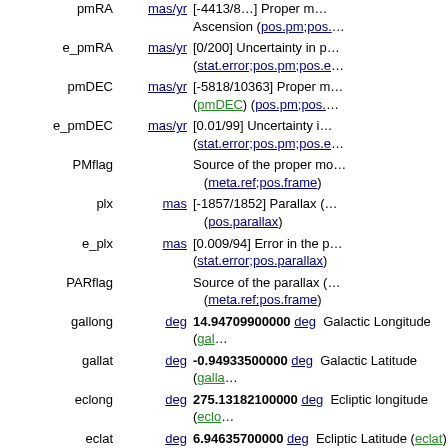| Name | Unit | Description |
| --- | --- | --- |
| pmRA (cont.) | mas/yr | [-4413/8305] Proper m...Ascension (pos.pm;pos.... |
| e_pmRA | mas/yr | [0/200] Uncertainty in p...(stat.error;pos.pm;pos.e... |
| pmDEC | mas/yr | [-5818/10363] Proper m...(pmDEC) (pos.pm;pos.... |
| e_pmDEC | mas/yr | [0.01/99] Uncertainty i...(stat.error;pos.pm;pos.e... |
| PMflag |  | Source of the proper mo...(meta.ref;pos.frame) |
| plx | mas | [-1857/1852] Parallax (...(pos.parallax) |
| e_plx | mas | [0.009/94] Error in the p...(stat.error;pos.parallax) |
| PARflag |  | Source of the parallax (...(meta.ref;pos.frame) |
| gallong | deg | 14.94709900000 Galactic Longitude (gal... |
| gallat | deg | -0.94933500000 Galactic Latitude (galla... |
| eclong | deg | 275.13182100000 Ecliptic longitude (eclo... |
| eclat | deg | 6.94635700000 Ecliptic Latitude (eclat) |
| Bmag | mag | [-6.7/50] Johnson B ma...(phot.mag;em.opt.B) |
| e_Bmag | mag | [-10/26.1] Uncertainty... |